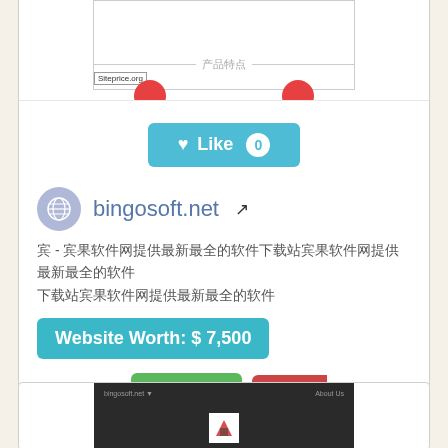[Figure (screenshot): Screenshot strip of a website with Siteprice.org label and two red circle icons]
[Figure (other): Like button (heart icon) with count 0, teal/blue background]
bingosoft.net (with globe icon and external link icon)
宾 - 宾果软件网提供最新最全的软件下载站宾果软件网提供最新最全的软件
Website Worth: $ 7,500
Is it similar?  Yes 0  No  Scroll Top
[Figure (screenshot): Partial screenshot of a dark-themed website at the bottom of page]